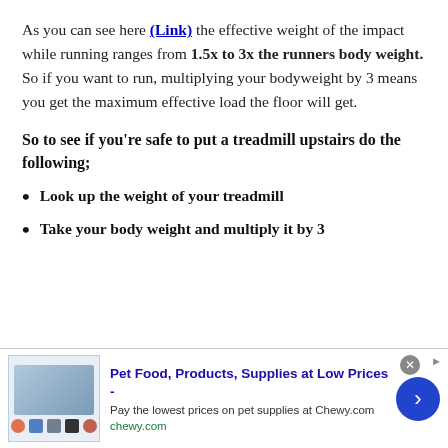As you can see here (Link) the effective weight of the impact while running ranges from 1.5x to 3x the runners body weight. So if you want to run, multiplying your bodyweight by 3 means you get the maximum effective load the floor will get.
So to see if you're safe to put a treadmill upstairs do the following;
Look up the weight of your treadmill
Take your body weight and multiply it by 3
[Figure (infographic): Advertisement banner for Chewy.com pet food and supplies, showing product images on the left, text 'Pet Food, Products, Supplies at Low Prices -' with subtext 'Pay the lowest prices on pet supplies at Chewy.com' and 'chewy.com', a close button (x), and a blue circular arrow button on the right.]